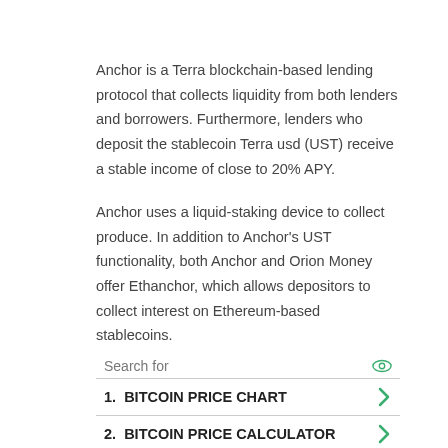Anchor is a Terra blockchain-based lending protocol that collects liquidity from both lenders and borrowers. Furthermore, lenders who deposit the stablecoin Terra usd (UST) receive a stable income of close to 20% APY.
Anchor uses a liquid-staking device to collect produce. In addition to Anchor's UST functionality, both Anchor and Orion Money offer Ethanchor, which allows depositors to collect interest on Ethereum-based stablecoins.
1.  BITCOIN PRICE CHART
2.  BITCOIN PRICE CALCULATOR
Ad | Business Focus